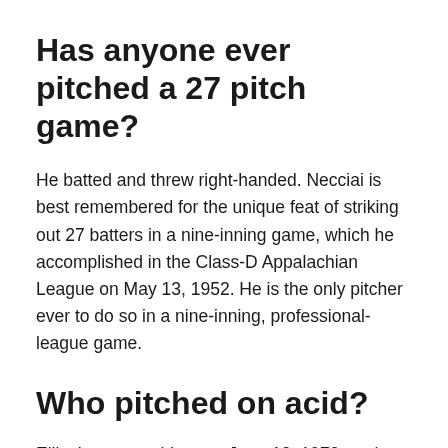Has anyone ever pitched a 27 pitch game?
He batted and threw right-handed. Necciai is best remembered for the unique feat of striking out 27 batters in a nine-inning game, which he accomplished in the Class-D Appalachian League on May 13, 1952. He is the only pitcher ever to do so in a nine-inning, professional-league game.
Who pitched on acid?
Ellis threw a no-hitter on June 12, 1970, and later stated that he accomplished the feat under the influence of LSD. Ellis was the starting pitcher for the National League in